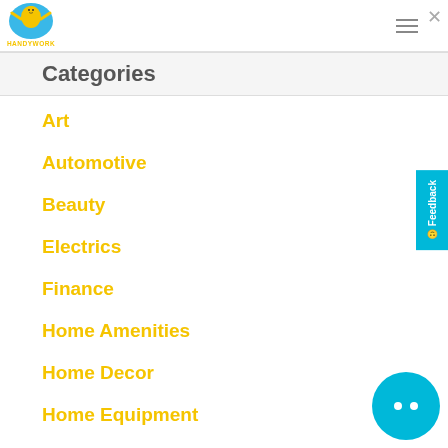[Figure (logo): Handywork logo — cartoon figure with yellow body and blue circular background, text HANDYWORK below in yellow]
Categories
Art
Automotive
Beauty
Electrics
Finance
Home Amenities
Home Decor
Home Equipment